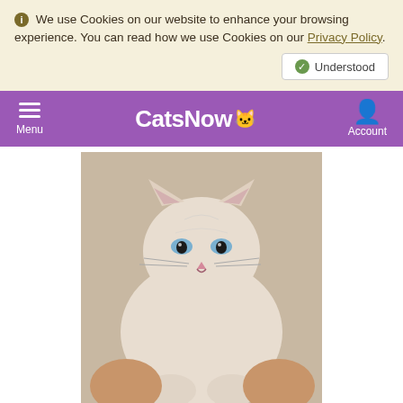We use Cookies on our website to enhance your browsing experience. You can read how we use Cookies on our Privacy Policy.
Understood
CatsNow - Menu / Account
[Figure (photo): A light-colored Siamese kitten held in someone's hands, appearing small and fluffy with blue eyes.]
Parlier, CA
powered by oodle
Breed
Siamese
Gender
Male
Color
N/A
Pattern
N/A
Meet meow-velous meezer mix Murphy! He looks like a cotton ball,